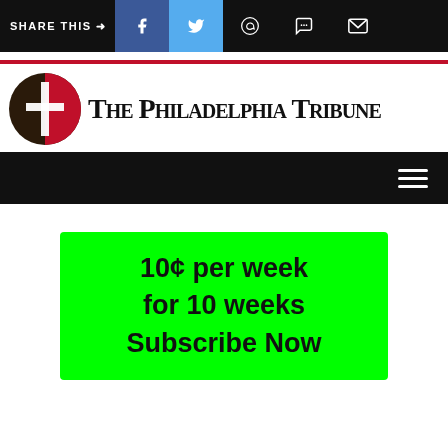SHARE THIS →  [facebook] [twitter] [whatsapp] [chat] [email]
[Figure (logo): The Philadelphia Tribune newspaper logo with circular icon containing a cross and red/dark coloring, followed by blackletter text 'The Philadelphia Tribune']
10¢ per week for 10 weeks Subscribe Now